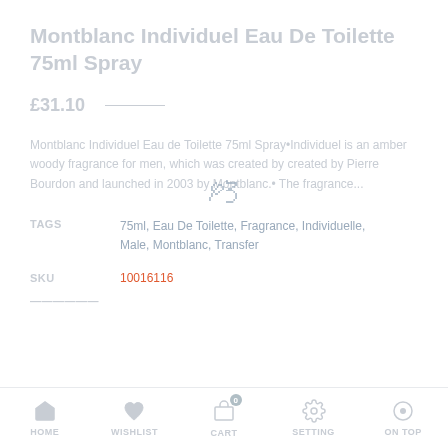Montblanc Individuel Eau De Toilette 75ml Spray
£31.10
Montblanc Individuel Eau de Toilette 75ml Spray•Individuel is an amber woody fragrance for men, which was created by created by Pierre Bourdon and launched in 2003 by Montblanc.• The fragrance...
TAGS	75ml, Eau De Toilette, Fragrance, Individuelle, Male, Montblanc, Transfer
SKU	10016116
HOME  WISHLIST  CART  SETTING  ON TOP